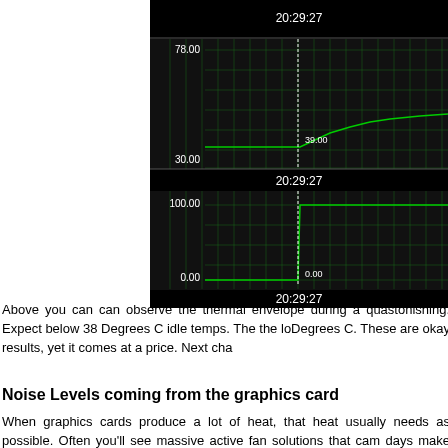[Figure (continuous-plot): Two time-series monitoring charts on black background. Top chart shows temperature readings with y-axis range 30.00 to 78.00, a mostly flat green line around 39.00, with a dashed vertical marker at 20:29:27. Bottom chart shows percentage readings 0.00 to 100.00, flat line at 0.00 that jumps to 100.00 at the marker 20:29:27.]
Above you can can observe the thermal envelope during a qu... astonishing. Expect below 38 Degrees C idle temps. The the lo... Degrees C. These are okay results, yet it comes at a price. Next cha...
Noise Levels coming from the graphics card
When graphics cards produce a lot of heat, that heat usually needs... as possible. Often you'll see massive active fan solutions that cam... days make the PC a noisy son of a gun. I'm doing a little try-out to... do is extremely subjective. We bought a certified dBA meter and w... the PC. Why is this subjective, you ask? Well, there is always nois...